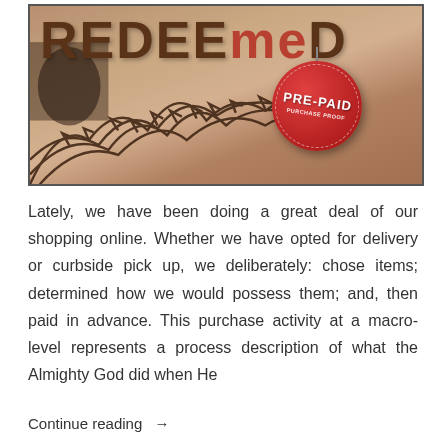[Figure (illustration): Book cover image titled 'REDEEMeD' with sepia-toned background showing a crown of thorns, and a red circular price tag reading 'PRE-PAID PURCHASE PROOF' hanging from a string.]
Lately, we have been doing a great deal of our shopping online. Whether we have opted for delivery or curbside pick up, we deliberately: chose items; determined how we would possess them; and, then paid in advance. This purchase activity at a macro-level represents a process description of what the Almighty God did when He
Continue reading →